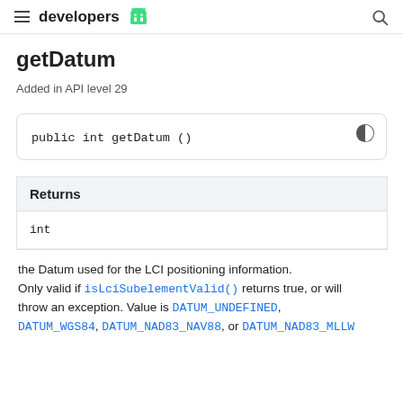developers
getDatum
Added in API level 29
| Returns |
| --- |
| int |
the Datum used for the LCI positioning information. Only valid if isLciSubelementValid() returns true, or will throw an exception. Value is DATUM_UNDEFINED, DATUM_WGS84, DATUM_NAD83_NAV88, or DATUM_NAD83_MLLW